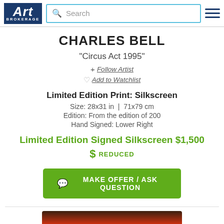Art Brokerage | Search
CHARLES BELL
"Circus Act 1995"
+ Follow Artist
♡ Add to Watchlist
Limited Edition Print: Silkscreen
Size: 28x31 in  |  71x79 cm
Edition: From the edition of 200
Hand Signed: Lower Right
Limited Edition Signed Silkscreen $1,500
$ REDUCED
MAKE OFFER / ASK QUESTION
[Figure (photo): Partial view of artwork by Charles Bell - appears to show a red/orange circus-themed image]